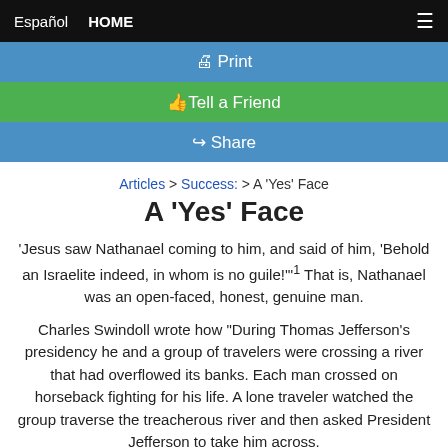Español  HOME  ☰
🖨 Print
👍 Tell a Friend
↪ Share
Articles > Success: > A 'Yes' Face
A 'Yes' Face
'Jesus saw Nathanael coming to him, and said of him, 'Behold an Israelite indeed, in whom is no guile!'"¹ That is, Nathanael was an open-faced, honest, genuine man.
Charles Swindoll wrote how "During Thomas Jefferson's presidency he and a group of travelers were crossing a river that had overflowed its banks. Each man crossed on horseback fighting for his life. A lone traveler watched the group traverse the treacherous river and then asked President Jefferson to take him across.
"The president agreed without hesitation, the man climbed on, and the two